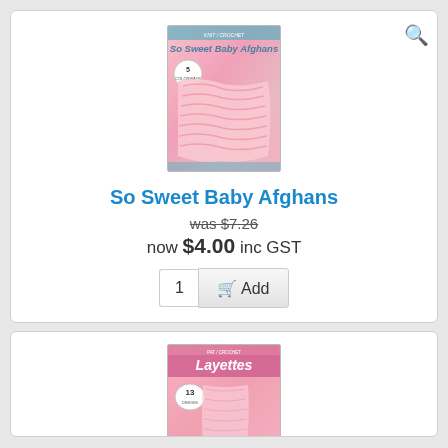[Figure (photo): Book cover of 'So Sweet Baby Afghans' - pink crochet baby afghan cover photo with badge showing 5 colorways]
So Sweet Baby Afghans
was $7.26
now $4.00 inc GST
[Figure (photo): Book cover of 'Layettes' - pink knit/crochet baby layette cover with badge showing 13 designs]